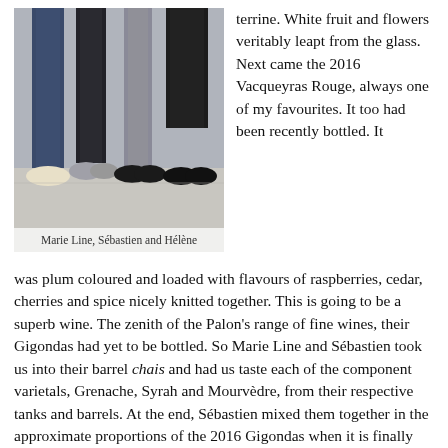[Figure (photo): Photo of three people (legs and feet visible), standing on a tiled floor. The image is cropped to show lower bodies only.]
Marie Line, Sébastien and Hélène
terrine. White fruit and flowers veritably leapt from the glass. Next came the 2016 Vacqueyras Rouge, always one of my favourites. It too had been recently bottled. It was plum coloured and loaded with flavours of raspberries, cedar, cherries and spice nicely knitted together. This is going to be a superb wine. The zenith of the Palon's range of fine wines, their Gigondas had yet to be bottled. So Marie Line and Sébastien took us into their barrel chais and had us taste each of the component varietals, Grenache, Syrah and Mourvèdre, from their respective tanks and barrels. At the end, Sébastien mixed them together in the approximate proportions of the 2016 Gigondas when it is finally bottled in a couple of months. Sheer ambrosia!
So, there you have it, the trials and tribulations of the valiant, selfless wine agent as he spent an arduous month roaming